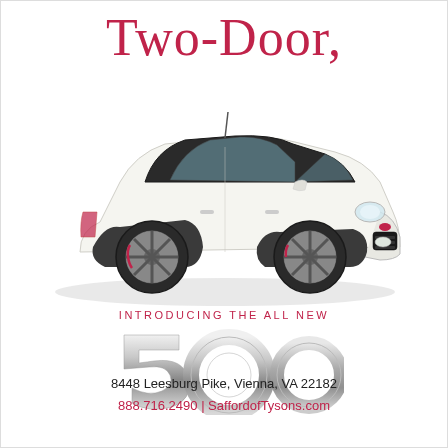Two-Door,
[Figure (photo): White Fiat 500 two-door hatchback car shown from front-left three-quarter angle on white background]
INTRODUCING THE ALL NEW
[Figure (logo): Fiat 500 chrome logo/badge showing stylized '500' text in silver metallic lettering]
8448 Leesburg Pike, Vienna, VA 22182
888.716.2490 | SaffordofTysons.com